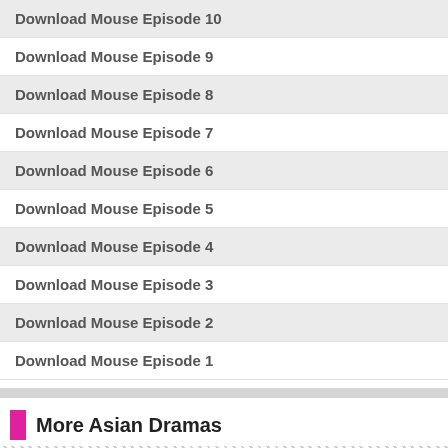Download Mouse Episode 10
Download Mouse Episode 9
Download Mouse Episode 8
Download Mouse Episode 7
Download Mouse Episode 6
Download Mouse Episode 5
Download Mouse Episode 4
Download Mouse Episode 3
Download Mouse Episode 2
Download Mouse Episode 1
More Asian Dramas
[Figure (logo): Decorative logo text in stylized black font reading material queen or similar]
[Figure (photo): Blurred photo of people in a bright indoor setting]